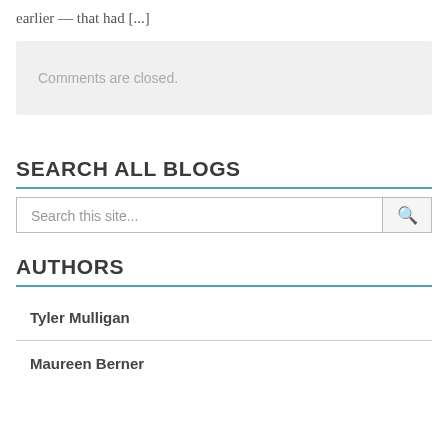earlier — that had [...]
Comments are closed.
SEARCH ALL BLOGS
Search this site...
AUTHORS
Tyler Mulligan
Maureen Berner